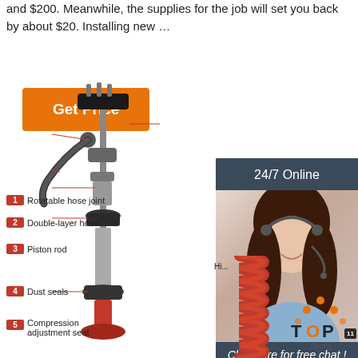and $200. Meanwhile, the supplies for the job will set you back by about $20. Installing new …
[Figure (other): Orange 'Get Price' button]
[Figure (infographic): Customer service representative with headset, 24/7 Online banner, 'Click here for free chat!' overlay, and QUOTATION orange button]
[Figure (engineering-diagram): Exploded diagram of a coilover/shock absorber assembly with numbered parts: 1-Rotatable hose joint, 2-Double-layer hose, 3-Piston rod, 4-Dust seals, 5-Compression adjustment seat, 11-Spring (red coil spring on right side), and a partial label 'Hi...' visible]
[Figure (logo): TOP Spring logo with orange triangle/arch motif and number 11 badge]